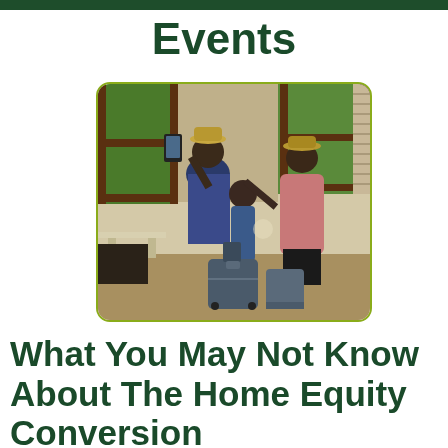Events
[Figure (photo): Photograph of an older man and older woman with a young girl (grandparents and grandchild). The man is taking a selfie with a phone while the girl's arm is extended. All three are smiling. There is luggage at their feet. They appear to be in a home or hotel lobby with wooden window frames and greenery visible outside.]
What You May Not Know About The Home Equity Conversion